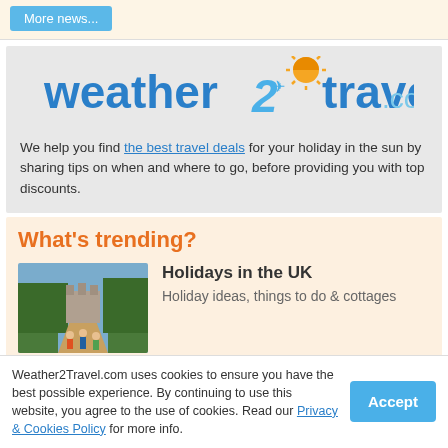More news...
[Figure (logo): Weather2Travel.com logo with sun icon and airplane]
We help you find the best travel deals for your holiday in the sun by sharing tips on when and where to go, before providing you with top discounts.
What's trending?
[Figure (photo): Windsor Castle with visitors walking along the Long Walk, trees on either side]
Holidays in the UK
Holiday ideas, things to do & cottages
[Figure (photo): Partial photo, dark background with partial face visible]
Coronavirus updates
Weather2Travel.com uses cookies to ensure you have the best possible experience. By continuing to use this website, you agree to the use of cookies. Read our Privacy & Cookies Policy for more info.
Accept